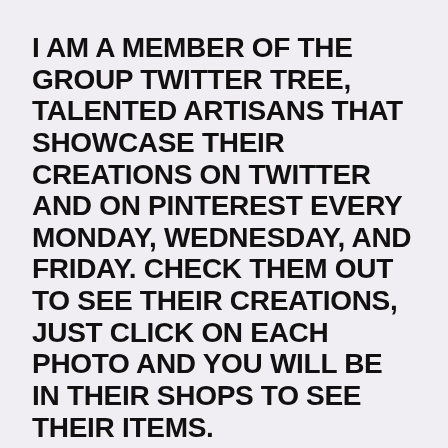I AM A MEMBER OF THE GROUP TWITTER TREE, TALENTED ARTISANS THAT SHOWCASE THEIR CREATIONS ON TWITTER AND ON PINTEREST EVERY MONDAY, WEDNESDAY, AND FRIDAY. CHECK THEM OUT TO SEE THEIR CREATIONS, JUST CLICK ON EACH PHOTO AND YOU WILL BE IN THEIR SHOPS TO SEE THEIR ITEMS.
PHOTO BY AMANDA KIRSH FROM BURST
5 comments
Read more →